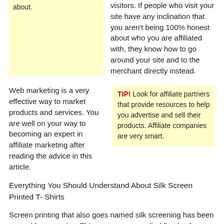about. visitors. If people who visit your site have any inclination that you aren't being 100% honest about who you are affiliated with, they know how to go around your site and to the merchant directly instead.
Web marketing is a very effective way to market products and services. You are well on your way to becoming an expert in affiliate marketing after reading the advice in this article.
TIP! Look for affiliate partners that provide resources to help you advertise and sell their products. Affiliate companies are very smart.
Everything You Should Understand About Silk Screen Printed T- Shirts
Screen printing that also goes named silk screening has been around for centuries. This system was applied first by the Chinese, nevertheless the processes were very different a